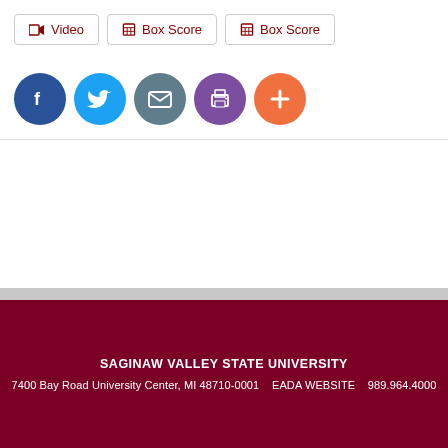Video
Box Score
Box Score
[Figure (infographic): Row of five social sharing icon buttons: Facebook (blue circle), Twitter (light blue circle), Email (gray circle), Print (purple circle), Add/Plus (orange circle)]
SAGINAW VALLEY STATE UNIVERSITY
7400 Bay Road University Center, MI 48710-0001    EADA WEBSITE    989.964.4000